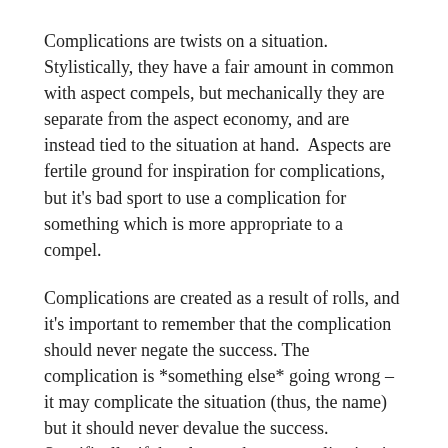Complications are twists on a situation. Stylistically, they have a fair amount in common with aspect compels, but mechanically they are separate from the aspect economy, and are instead tied to the situation at hand. Aspects are fertile ground for inspiration for complications, but it's bad sport to use a complication for something which is more appropriate to a compel.
Complications are created as a result of rolls, and it's important to remember that the complication should never negate the success. The complication is *something else* going wrong – it may complicate the situation (thus, the name) but it should never devalue the success. Specifically, if the player takes a complication in order to avoid a problem, the complication should not be that problem.
Complications might include: